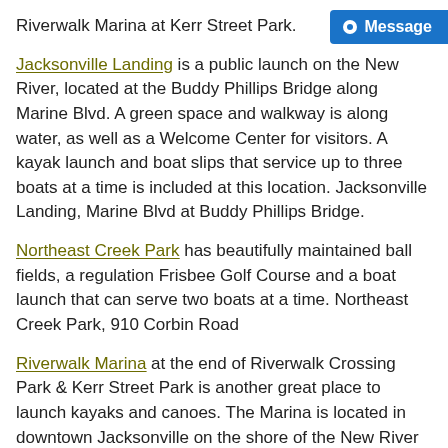Riverwalk Marina at Kerr Street Park.
Jacksonville Landing is a public launch on the New River, located at the Buddy Phillips Bridge along Marine Blvd. A green space and walkway is along water, as well as a Welcome Center for visitors. A kayak launch and boat slips that service up to three boats at a time is included at this location. Jacksonville Landing, Marine Blvd at Buddy Phillips Bridge.
Northeast Creek Park has beautifully maintained ball fields, a regulation Frisbee Golf Course and a boat launch that can serve two boats at a time. Northeast Creek Park, 910 Corbin Road
Riverwalk Marina at the end of Riverwalk Crossing Park & Kerr Street Park is another great place to launch kayaks and canoes. The Marina is located in downtown Jacksonville on the shore of the New River at 15 Kerr Street.